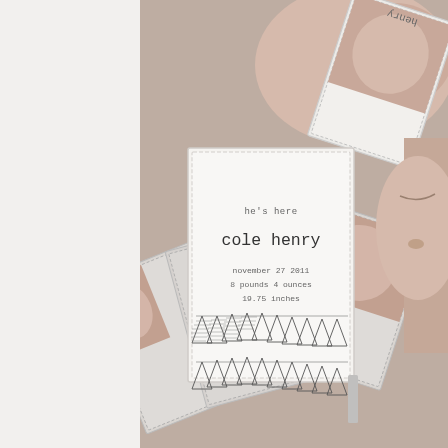[Figure (photo): A collection of birth announcement cards fanned out on a surface. The central card reads 'he's here / cole henry / november 27 2011 / 8 pounds 4 ounces / 19.75 inches' with a decorative pennant bunting illustration. The surrounding cards show close-up newborn baby photos.]
2. the bubble looking forward to bringing the bubble outdoors
[Figure (photo): Partial view of an interior room with windows showing blinds, bright light coming through.]